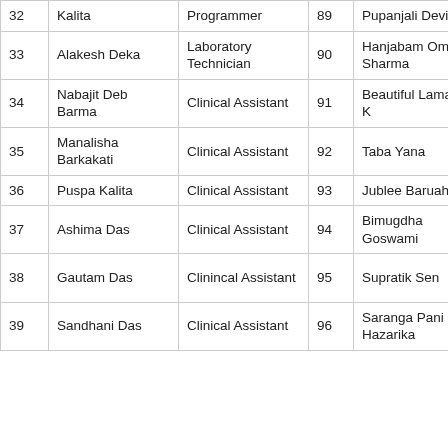| # | Name | Role | # | Name | Role |
| --- | --- | --- | --- | --- | --- |
| 32 | Kalita | Programmer | 89 | Pupanjali Devi | Staff Nu… |
| 33 | Alakesh Deka | Laboratory Technician | 90 | Hanjabam Omex Sharma | Staff Nu… |
| 34 | Nabajit Deb Barma | Clinical Assistant | 91 | Beautiful Lamare K | Staff Nu… |
| 35 | Manalisha Barkakati | Clinical Assistant | 92 | Taba Yana | Staff Nu… |
| 36 | Puspa Kalita | Clinical Assistant | 93 | Jublee Baruah | Staff Nu… |
| 37 | Ashima Das | Clinical Assistant | 94 | Bimugdha Goswami | Medical Physics (Intern) |
| 38 | Gautam Das | Clinincal Assistant | 95 | Supratik Sen | MSc Radiolo Physics… |
| 39 | Sandhani Das | Clinical Assistant | 96 | Saranga Pani Hazarika | MSc Radiolo… |